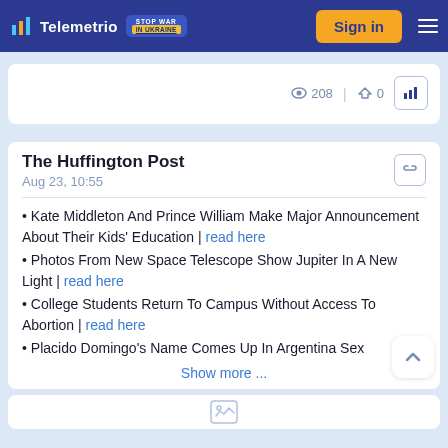Telemetrio | Stop War In Ukraine | Sign in
208 | 0
The Huffington Post
Aug 23, 10:55
• Kate Middleton And Prince William Make Major Announcement About Their Kids' Education | read here
• Photos From New Space Telescope Show Jupiter In A New Light | read here
• College Students Return To Campus Without Access To Abortion | read here
• Placido Domingo's Name Comes Up In Argentina Sex
Show more ...